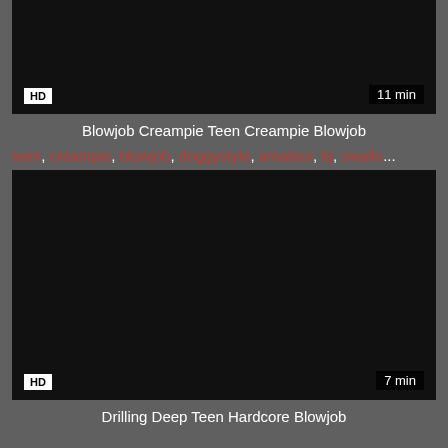[Figure (screenshot): Video thumbnail, black/dark background, HD badge and 11 min duration overlay]
Blowjob Creampie Teen Creampie Blowjob
teen, creampie, blowjob, doggystyle, amateur, bj, swallo...
[Figure (screenshot): Video thumbnail, black/dark background, HD badge and 7 min duration overlay]
Drilling Deep Teen Hardcore Blowjob